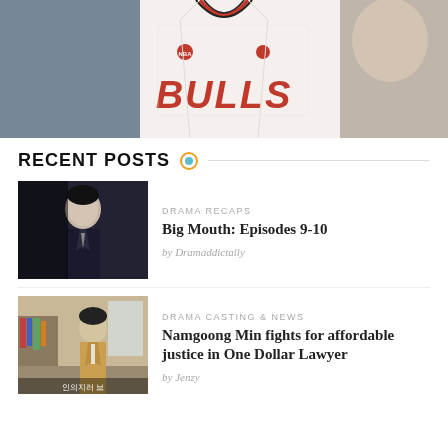[Figure (photo): Man wearing a Chicago Bulls NBA basketball jersey (white with red lettering 'BULLS'), cropped from chest up, with another person partially visible on the right side]
RECENT POSTS
[Figure (photo): Young man in dark suit and tie, dramatic lighting, used as thumbnail for Big Mouth Episodes 9-10 drama recap]
DRAMA RECAPS
Big Mouth: Episodes 9-10
by Dramaddictally
[Figure (photo): Man in tan suit standing in an office/room with books, Korean text visible at bottom, thumbnail for Namgoong Min One Dollar Lawyer article]
DRAMA CASTING & NEWS
Namgoong Min fights for affordable justice in One Dollar Lawyer
by Jenzy